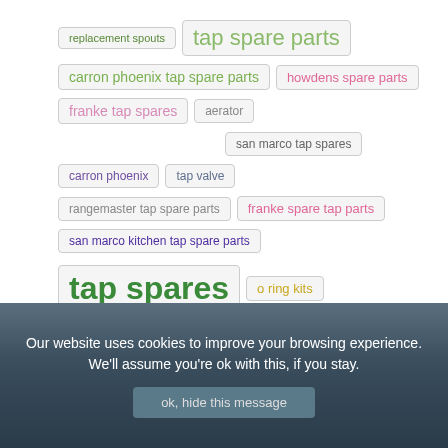replacement spouts
tap spare parts
carron phoenix tap spare parts
howdens spare parts
franke tap spares
aerator
san marco tap spares
carron phoenix
tap valve
rangemaster tap spare parts
franke spare tap parts
san marco kitchen tap spare parts
tap spares
o ring kits
Our website uses cookies to improve your browsing experience. We'll assume you're ok with this, if you stay.
ok, hide this message